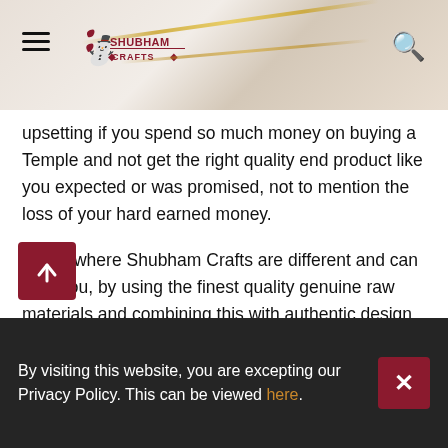Shubham Crafts website header with logo, hamburger menu, and search icon
upsetting if you spend so much money on buying a Temple and not get the right quality end product like you expected or was promised, not to mention the loss of your hard earned money.
That's where Shubham Crafts are different and can help you, by using the finest quality genuine raw materials and combining this with authentic design that are truly appealing, eye catching and made with religious and Vastu Shatra aspects in mind.  We design and manufacture custom Marble Murtis & Teak Wood Temples for your home, Wooden Carved Indoor Swings (Jhoola's) and other furniture for your home. A large variety can be seen at our warehouse, where you can see the quality of our craftsmanship as well as the shear variety of styles and
By visiting this website, you are excepting our Privacy Policy. This can be viewed here.